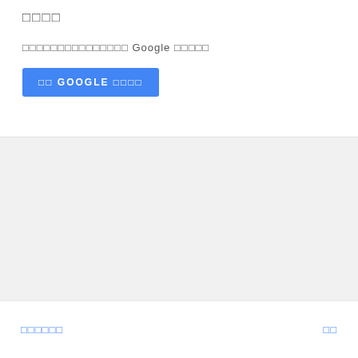□□□□
□□□□□□□□□□□□□□□ Google □□□□□
□□ GOOGLE □□□□
□□□□□□
□□
□□□ □□□□□ (Atom
□□□□□□□□□□□□□□